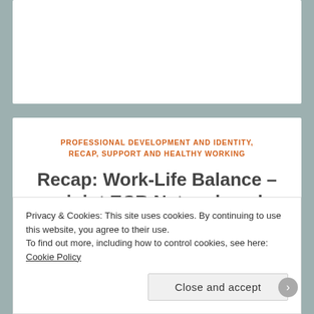PROFESSIONAL DEVELOPMENT AND IDENTITY, RECAP, SUPPORT AND HEALTHY WORKING
Recap: Work-Life Balance – a joint ECR Network and #ECRchat event, 5 December 2013
Privacy & Cookies: This site uses cookies. By continuing to use this website, you agree to their use.
To find out more, including how to control cookies, see here: Cookie Policy